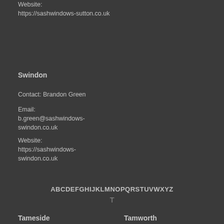Website: https://sashwindows-sutton.co.uk
Email: l.clark@sashwindows-sutton-coldfield.co.uk
Website: https://sashwindows-sutton-coldfield.co.uk
Swindon
Contact: Brandon Green
Email: b.green@sashwindows-swindon.co.uk
Website: https://sashwindows-swindon.co.uk
ABCDEFGHIJKLMNOPQRSTUVWXYZ
T
Tameside
Tamworth